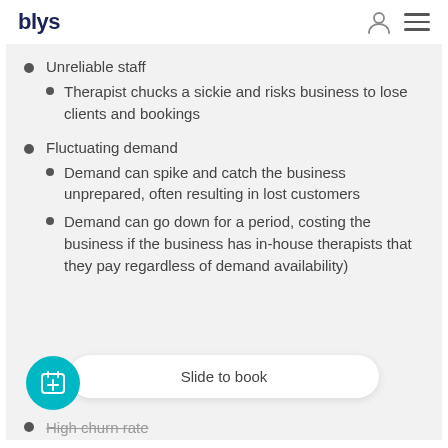blys
Unreliable staff
Therapist chucks a sickie and risks business to lose clients and bookings
Fluctuating demand
Demand can spike and catch the business unprepared, often resulting in lost customers
Demand can go down for a period, costing the business if the business has in-house therapists that they pay regardless of demand availability)
High churn rate